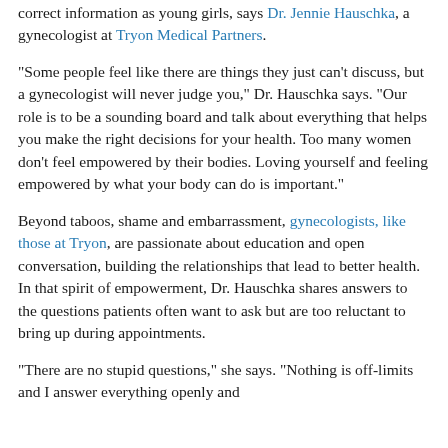correct information as young girls, says Dr. Jennie Hauschka, a gynecologist at Tryon Medical Partners.
"Some people feel like there are things they just can't discuss, but a gynecologist will never judge you," Dr. Hauschka says. "Our role is to be a sounding board and talk about everything that helps you make the right decisions for your health. Too many women don't feel empowered by their bodies. Loving yourself and feeling empowered by what your body can do is important."
Beyond taboos, shame and embarrassment, gynecologists, like those at Tryon, are passionate about education and open conversation, building the relationships that lead to better health. In that spirit of empowerment, Dr. Hauschka shares answers to the questions patients often want to ask but are too reluctant to bring up during appointments.
"There are no stupid questions," she says. "Nothing is off-limits and I answer everything openly and